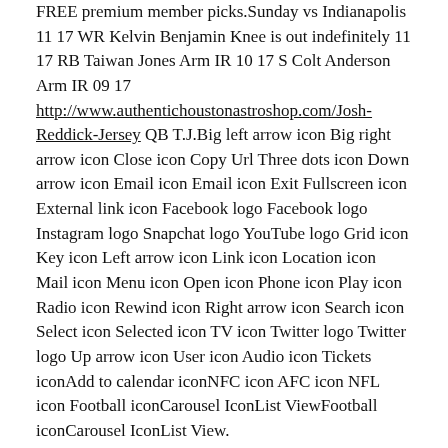FREE premium member picks.Sunday vs Indianapolis 11 17 WR Kelvin Benjamin Knee is out indefinitely 11 17 RB Taiwan Jones Arm IR 10 17 S Colt Anderson Arm IR 09 17 http://www.authentichoustonastroshop.com/Josh-Reddick-Jersey QB T.J.Big left arrow icon Big right arrow icon Close icon Copy Url Three dots icon Down arrow icon Email icon Email icon Exit Fullscreen icon External link icon Facebook logo Facebook logo Instagram logo Snapchat logo YouTube logo Grid icon Key icon Left arrow icon Link icon Location icon Mail icon Menu icon Open icon Phone icon Play icon Radio icon Rewind icon Right arrow icon Search icon Select icon Selected icon TV icon Twitter logo Twitter logo Up arrow icon User icon Audio icon Tickets iconAdd to calendar iconNFC icon AFC icon NFL icon Football iconCarousel IconList ViewFootball iconCarousel IconList View.